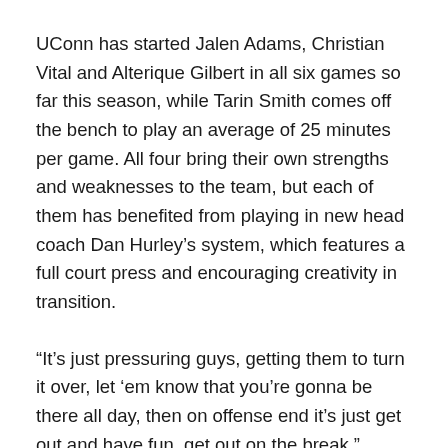UConn has started Jalen Adams, Christian Vital and Alterique Gilbert in all six games so far this season, while Tarin Smith comes off the bench to play an average of 25 minutes per game. All four bring their own strengths and weaknesses to the team, but each of them has benefited from playing in new head coach Dan Hurley's system, which features a full court press and encouraging creativity in transition.
“It’s just pressuring guys, getting them to turn it over, let ‘em know that you’re gonna be there all day, then on offense end it’s just get out and have fun, get out on the break,” Adams said. “It’s a great system for me, I enjoy it a lot.”
Gilbert is simultaneously the lead distributor of the group (4.1 assists per game) and the sharpshooter, taking near five 3’s in each contest and making them at a .469 clip. It’s not